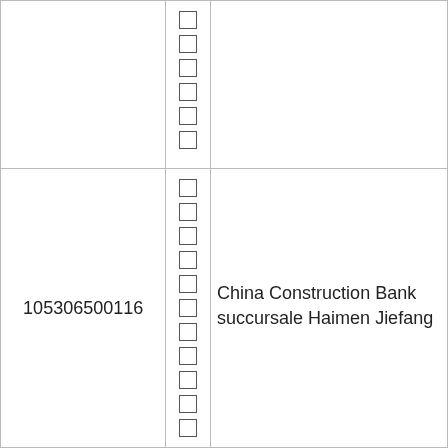|  | ☐☐☐☐☐☐ |  |
| 105306500116 | ☐☐☐☐☐☐☐☐☐☐☐ | China Construction Bank succursale Haimen Jiefang |